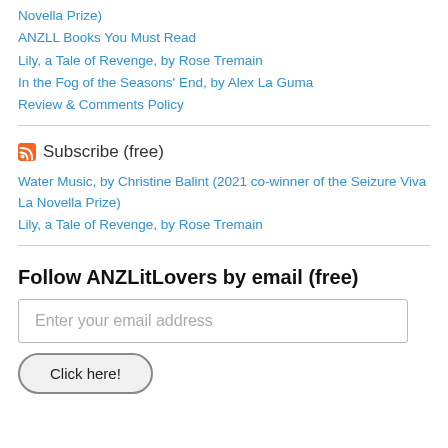Novella Prize)
ANZLL Books You Must Read
Lily, a Tale of Revenge, by Rose Tremain
In the Fog of the Seasons' End, by Alex La Guma
Review & Comments Policy
Subscribe (free)
Water Music, by Christine Balint (2021 co-winner of the Seizure Viva La Novella Prize)
Lily, a Tale of Revenge, by Rose Tremain
Follow ANZLitLovers by email (free)
Enter your email address
Click here!